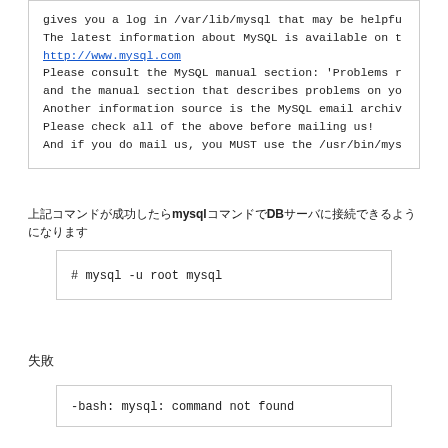gives you a log in /var/lib/mysql that may be helpfu
The latest information about MySQL is available on t
http://www.mysql.com
Please consult the MySQL manual section: 'Problems r
and the manual section that describes problems on yo
Another information source is the MySQL email archiv
Please check all of the above before mailing us!
And if you do mail us, you MUST use the /usr/bin/mys
上記コマンドが成功したらmysqlコマンドでDBサーバに接続できるようになります
# mysql -u root mysql
失敗
-bash: mysql: command not found